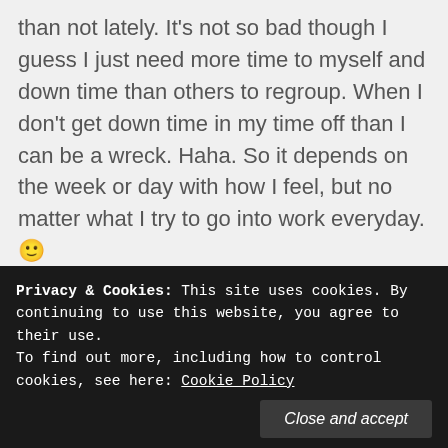than not lately. It's not so bad though I guess I just need more time to myself and down time than others to regroup. When I don't get down time in my time off than I can be a wreck. Haha. So it depends on the week or day with how I feel, but no matter what I try to go into work everyday. 🙂
Liked by 1 person
Privacy & Cookies: This site uses cookies. By continuing to use this website, you agree to their use. To find out more, including how to control cookies, see here: Cookie Policy
Close and accept
Like